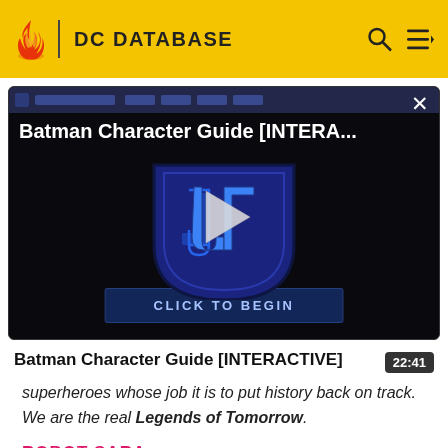DC DATABASE
[Figure (screenshot): Video thumbnail for Batman Character Guide [INTERACTIVE] showing a Justice League shield logo on a dark background with a play button and 'CLICK TO BEGIN' button]
Batman Character Guide [INTERACTIVE]
22:41
superheroes whose job it is to put history back on track. We are the real Legends of Tomorrow.
ROBOT SARA